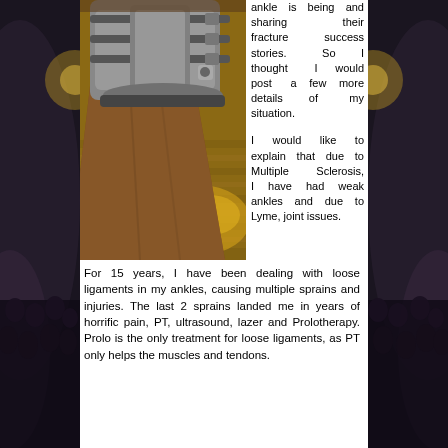[Figure (photo): A foot wearing a medical walking boot/brace, resting on what appears to be a wooden floor. The boot is gray/silver with straps. The person is wearing brown pants/trousers.]
ankle is being and sharing their fracture success stories. So I thought I would post a few more details of my situation.
I would like to explain that due to Multiple Sclerosis, I have had weak ankles and due to Lyme, joint issues.
For 15 years, I have been dealing with loose ligaments in my ankles, causing multiple sprains and injuries. The last 2 sprains landed me in years of horrific pain, PT, ultrasound, lazer and Prolotherapy. Prolo is the only treatment for loose ligaments, as PT only helps the muscles and tendons.